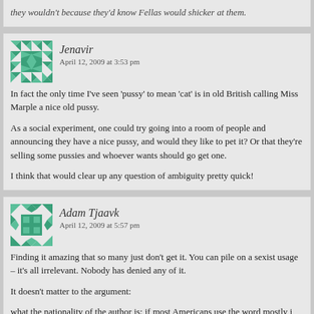they wouldn't because they'd know Fellas would shicker at them.
Jenavir
April 12, 2009 at 3:53 pm

In fact the only time I've seen 'pussy' to mean 'cat' is in old British calling Miss Marple a nice old pussy.

As a social experiment, one could try going into a room of people and announcing they have a nice pussy, and would they like to pet it? Or that they're selling some pussies and whoever wants should go get one.

I think that would clear up any question of ambiguity pretty quick!
Adam Tjaavk
April 12, 2009 at 5:57 pm

Finding it amazing that so many just don't get it. You can pile on all the examples of sexist usage – it's all irrelevant. Nobody has denied any of it.

It doesn't matter to the argument:

what the nationality of the author is; if most Americans use the word mostly in